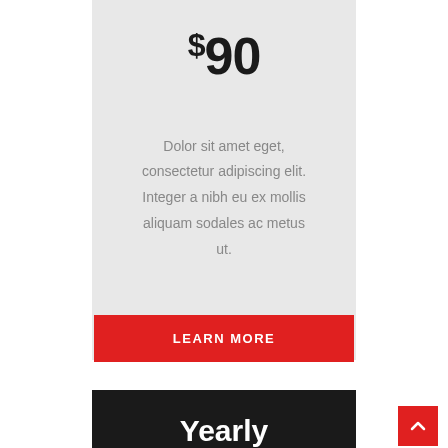$90
Dolor sit amet eget, consectetur adipiscing elit. Integer a nibh eu ex mollis aliquam sodales ac metus ut.
LEARN MORE
Yearly